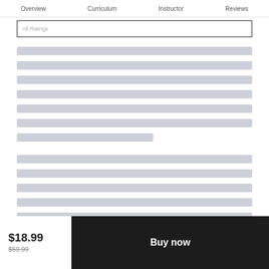Overview   Curriculum   Instructor   Reviews
All Ratings
[Figure (other): Skeleton loading placeholder bars for review content block 1]
[Figure (other): Skeleton loading placeholder bars for review content block 2]
$18.99
$59.99
Buy now